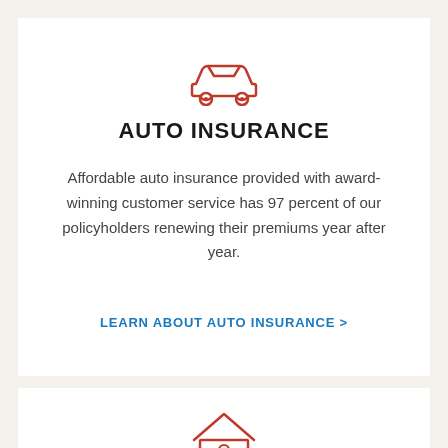[Figure (illustration): Red outline icon of a car (automobile) viewed from the side, with two wheels visible]
AUTO INSURANCE
Affordable auto insurance provided with award-winning customer service has 97 percent of our policyholders renewing their premiums year after year.
LEARN ABOUT AUTO INSURANCE >
[Figure (illustration): Red outline icon of a house with a person/figure symbol in the window area]